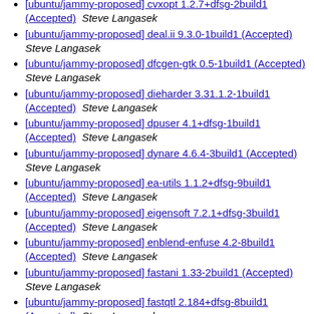[ubuntu/jammy-proposed] cvxopt 1.2.7+dfsg-2build1 (Accepted)  Steve Langasek
[ubuntu/jammy-proposed] deal.ii 9.3.0-1build1 (Accepted)  Steve Langasek
[ubuntu/jammy-proposed] dfcgen-gtk 0.5-1build1 (Accepted)  Steve Langasek
[ubuntu/jammy-proposed] dieharder 3.31.1.2-1build1 (Accepted)  Steve Langasek
[ubuntu/jammy-proposed] dpuser 4.1+dfsg-1build1 (Accepted)  Steve Langasek
[ubuntu/jammy-proposed] dynare 4.6.4-3build1 (Accepted)  Steve Langasek
[ubuntu/jammy-proposed] ea-utils 1.1.2+dfsg-9build1 (Accepted)  Steve Langasek
[ubuntu/jammy-proposed] eigensoft 7.2.1+dfsg-3build1 (Accepted)  Steve Langasek
[ubuntu/jammy-proposed] enblend-enfuse 4.2-8build1 (Accepted)  Steve Langasek
[ubuntu/jammy-proposed] fastani 1.33-2build1 (Accepted)  Steve Langasek
[ubuntu/jammy-proposed] fastqtl 2.184+dfsg-8build1 (Accepted)  Steve Langasek
[ubuntu/jammy-proposed] flowgrind 0.8.2-2build1 (Accepted)  Steve Langasek